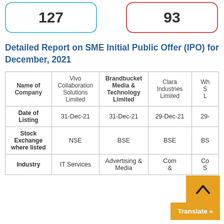[Figure (infographic): Two rounded-corner boxes side by side: blue box with number 127, red box with number 93]
Detailed Report on SME Initial Public Offer (IPO) for December, 2021
| Name of Company | Vivo Collaboration Solutions Limited | Brandbucket Media & Technology Limited | Clara Industries Limited | Wh... S... L... |
| --- | --- | --- | --- | --- |
| Date of Listing | 31-Dec-21 | 31-Dec-21 | 29-Dec-21 | 29-... |
| Stock Exchange where listed | NSE | BSE | BSE | BS... |
| Industry | IT Services | Advertising & Media | Com... & | Co... S... |